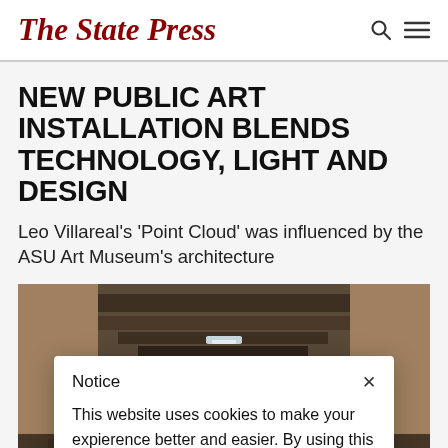The State Press
NEW PUBLIC ART INSTALLATION BLENDS TECHNOLOGY, LIGHT AND DESIGN
Leo Villareal's 'Point Cloud' was influenced by the ASU Art Museum's architecture
[Figure (photo): Interior architectural photo showing ceiling and structure with light, dark tones]
Notice
This website uses cookies to make your expierence better and easier. By using this website you consent to our use of cookies. For more information, please see our Cookie Policy.